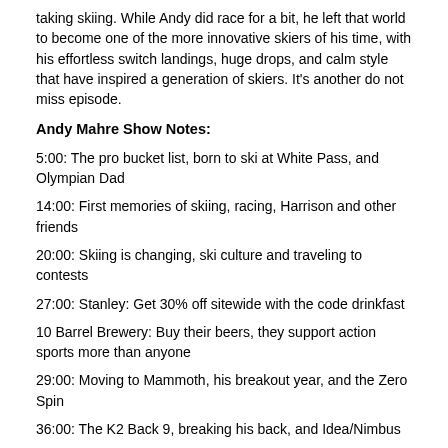taking skiing.  While Andy did race for a bit, he left that world to become one of the more innovative skiers of his time, with his effortless switch landings, huge drops, and calm style that have inspired a generation of skiers.  It's another do not miss episode.
Andy Mahre Show Notes:
5:00:  The pro bucket list, born to ski at White Pass, and Olympian Dad
14:00: First memories of skiing, racing, Harrison and other friends
20:00: Skiing is changing, ski culture and traveling to contests
27:00:  Stanley:  Get 30% off sitewide with the code drinkfast
10 Barrel Brewery:  Buy their beers, they support action sports more than anyone
29:00:  Moving to Mammoth, his breakout year, and the Zero Spin
36:00:  The K2 Back 9, breaking his back, and Idea/Nimbus
46:15:  COAL Headwear:  Use the code powell15 for 15% off
Peter Glenn Ski and Sport
48:15:  Warren Miller, getting married, K2 issues, and other sponsors
58:00: Money and different Mahre projects